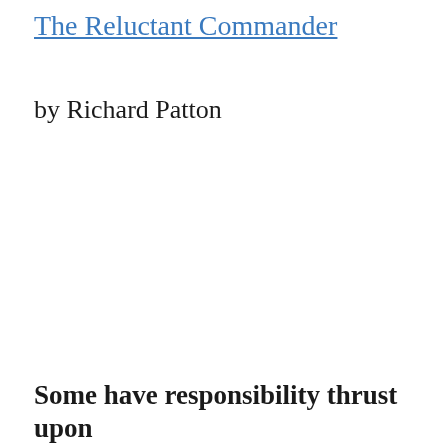The Reluctant Commander
by Richard Patton
Some have responsibility thrust upon